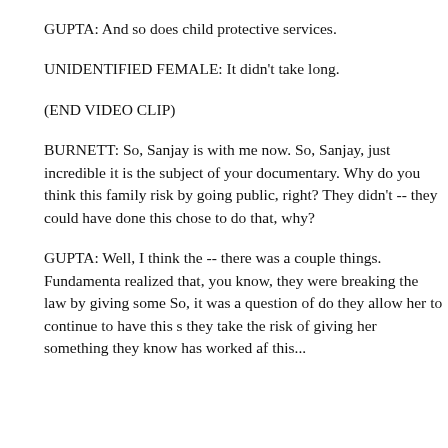GUPTA: And so does child protective services.
UNIDENTIFIED FEMALE: It didn't take long.
(END VIDEO CLIP)
BURNETT: So, Sanjay is with me now. So, Sanjay, just incredible it is the subject of your documentary. Why do you think this family risk by going public, right? They didn't -- they could have done this chose to do that, why?
GUPTA: Well, I think the -- there was a couple things. Fundamenta realized that, you know, they were breaking the law by giving some So, it was a question of do they allow her to continue to have this s they take the risk of giving her something they know has worked af this...